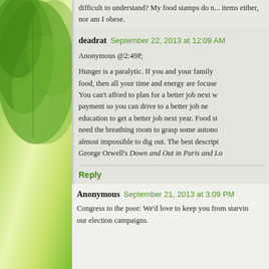difficult to understand? My food stamps do n... items either, nor am I obese.
deadrat  September 22, 2013 at 12:09 AM
Anonymous @2:49P,
Hunger is a paralytic. If you and your family... food, then all your time and energy are focuse... You can't afford to plan for a better job next w... payment so you can drive to a better job ne... education to get a better job next year. Food st... need the breathing room to grasp some autono... almost impossible to dig out. The best descript... George Orwell's Down and Out in Paris and Lo...
Reply
Anonymous  September 21, 2013 at 3:09 PM
Congress to the poor: We'd love to keep you from starvin... our election campaigns.